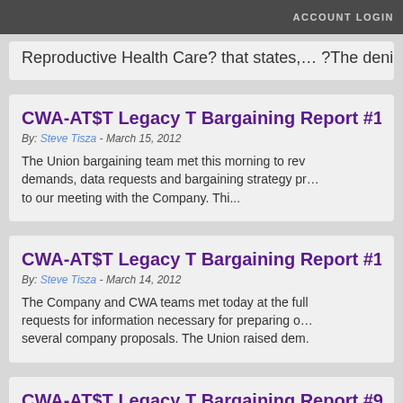ACCOUNT LOGIN
Reproductive Health Care? that states,… ?The denial
CWA-AT$T Legacy T Bargaining Report #11
By: Steve Tisza - March 15, 2012
The Union bargaining team met this morning to review demands, data requests and bargaining strategy prior to our meeting with the Company. Thi…
CWA-AT$T Legacy T Bargaining Report #10
By: Steve Tisza - March 14, 2012
The Company and CWA teams met today at the full requests for information necessary for preparing o several company proposals. The Union raised dem.
CWA-AT$T Legacy T Bargaining Report #9